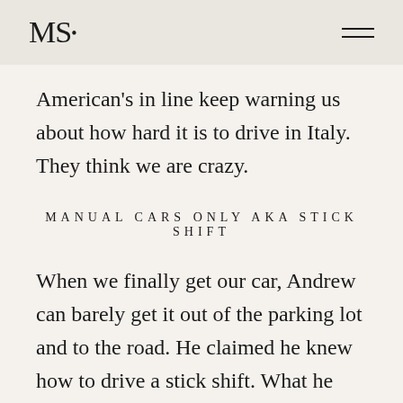MS•
American's in line keep warning us about how hard it is to drive in Italy. They think we are crazy.
MANUAL CARS ONLY AKA STICK SHIFT
When we finally get our car, Andrew can barely get it out of the parking lot and to the road. He claimed he knew how to drive a stick shift. What he